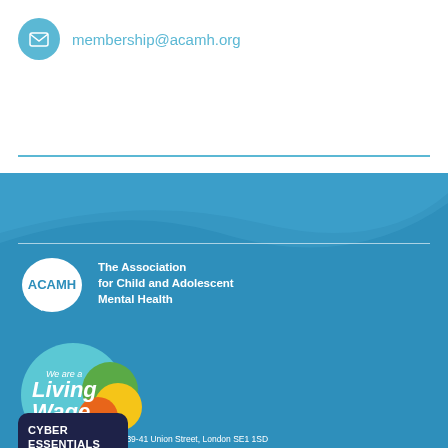membership@acamh.org
[Figure (logo): ACAMH logo - white speech bubble shape with ACAMH text, alongside tagline The Association for Child and Adolescent Mental Health]
[Figure (logo): Living Wage Employer badge - circular teal badge with colourful overlapping circles]
[Figure (logo): Cyber Essentials badge - dark navy rounded rectangle with CYBER ESSENTIALS text and green checkmark]
ACAMH St Saviour's House 39-41 Union Street, London SE1 1SD